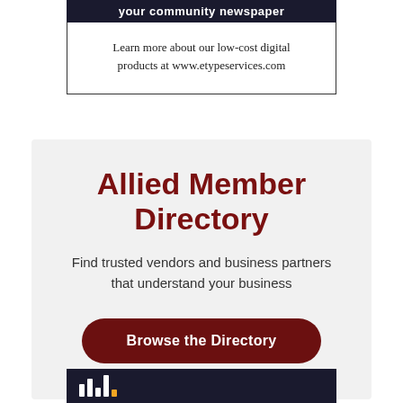[Figure (other): Advertisement box with dark header reading 'your community newspaper' and white body text: 'Learn more about our low-cost digital products at www.etypeservices.com']
Allied Member Directory
Find trusted vendors and business partners that understand your business
Browse the Directory
[Figure (logo): Bottom dark banner with white and orange bar chart logo marks]